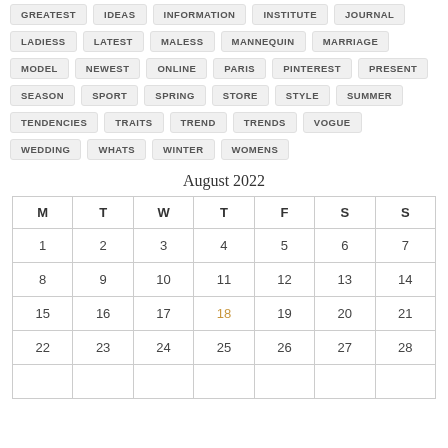GREATEST IDEAS INFORMATION INSTITUTE JOURNAL LADIESS LATEST MALESS MANNEQUIN MARRIAGE MODEL NEWEST ONLINE PARIS PINTEREST PRESENT SEASON SPORT SPRING STORE STYLE SUMMER TENDENCIES TRAITS TREND TRENDS VOGUE WEDDING WHATS WINTER WOMENS
August 2022
| M | T | W | T | F | S | S |
| --- | --- | --- | --- | --- | --- | --- |
| 1 | 2 | 3 | 4 | 5 | 6 | 7 |
| 8 | 9 | 10 | 11 | 12 | 13 | 14 |
| 15 | 16 | 17 | 18 | 19 | 20 | 21 |
| 22 | 23 | 24 | 25 | 26 | 27 | 28 |
|  |  |  |  |  |  |  |